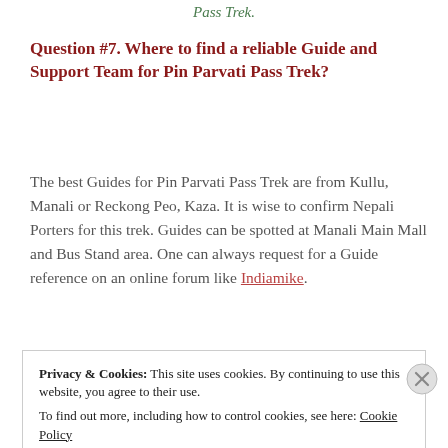Pass Trek.
Question #7.  Where to find a reliable Guide and Support Team for Pin Parvati Pass Trek?
The best Guides for Pin Parvati Pass Trek are from Kullu, Manali or Reckong Peo, Kaza. It is wise to confirm Nepali Porters for this trek. Guides can be spotted at Manali Main Mall and Bus Stand area. One can always request for a Guide reference on an online forum like Indiamike.
Privacy & Cookies:  This site uses cookies. By continuing to use this website, you agree to their use. To find out more, including how to control cookies, see here: Cookie Policy
Close and accept